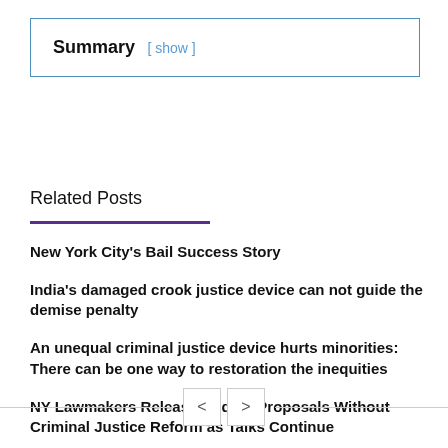Summary [ show ]
Related Posts
New York City's Bail Success Story
India's damaged crook justice device can not guide the demise penalty
An unequal criminal justice device hurts minorities: There can be one way to restoration the inequities
NY Lawmakers Release Budget Proposals Without Criminal Justice Reform as Talks Continue